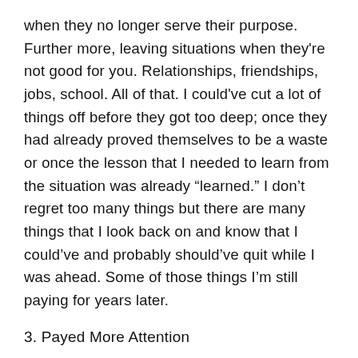when they no longer serve their purpose. Further more, leaving situations when they're not good for you. Relationships, friendships, jobs, school. All of that. I could've cut a lot of things off before they got too deep; once they had already proved themselves to be a waste or once the lesson that I needed to learn from the situation was already "learned." I don't regret too many things but there are many things that I look back on and know that I could've and probably should've quit while I was ahead. Some of those things I'm still paying for years later.
3. Payed More Attention
Dedicating my time to things that were more useful to me could've helped a lot. Not because I think I wasted any time because as we know everything happens along the way, right? However, I do think att...